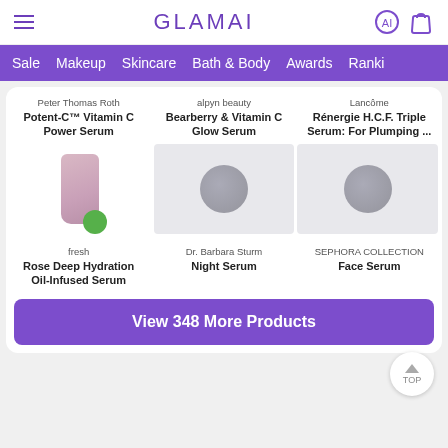GLAMAI
Sale  Makeup  Skincare  Bath & Body  Awards  Ranki...
Peter Thomas Roth
Potent-C™ Vitamin C Power Serum
alpyn beauty
Bearberry & Vitamin C Glow Serum
Lancôme
Rénergie H.C.F. Triple Serum: For Plumping ...
[Figure (photo): Product photo of Peter Thomas Roth Potent-C Vitamin C Power Serum - pink/purple bottle with green circle badge]
[Figure (photo): Product photo of alpyn beauty Bearberry & Vitamin C Glow Serum - blurred/obscured image on gray background]
[Figure (photo): Product photo of Lancôme Rénergie H.C.F. Triple Serum - blurred/obscured image on gray background]
fresh
Rose Deep Hydration Oil-Infused Serum
Dr. Barbara Sturm
Night Serum
SEPHORA COLLECTION
Face Serum
View 348 More Products